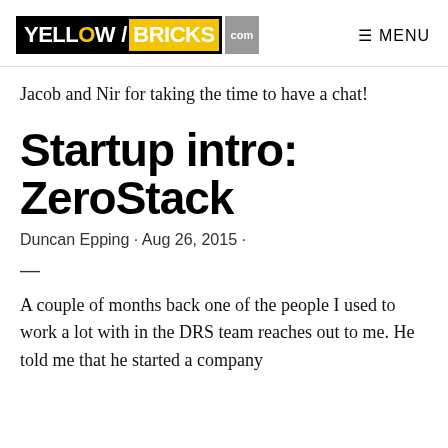YELLOW/BRICKS .com  MENU
Jacob and Nir for taking the time to have a chat!
Startup intro: ZeroStack
Duncan Epping · Aug 26, 2015 ·
—
A couple of months back one of the people I used to work a lot with in the DRS team reaches out to me. He told me that he started a company